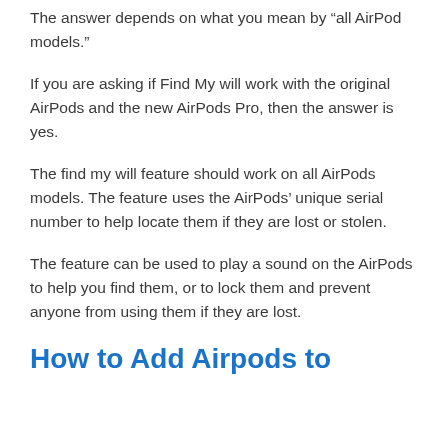The answer depends on what you mean by “all AirPod models.”
If you are asking if Find My will work with the original AirPods and the new AirPods Pro, then the answer is yes.
The find my will feature should work on all AirPods models. The feature uses the AirPods’ unique serial number to help locate them if they are lost or stolen.
The feature can be used to play a sound on the AirPods to help you find them, or to lock them and prevent anyone from using them if they are lost.
How to Add Airpods to